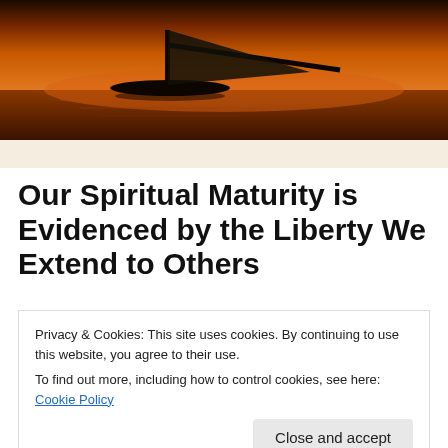[Figure (photo): Silhouette of a boat or aircraft on a body of water at sunset, with orange and dark tones]
Our Spiritual Maturity is Evidenced by the Liberty We Extend to Others
[Figure (photo): Partially visible image with warm yellow/orange sunset tones, cropped]
Privacy & Cookies: This site uses cookies. By continuing to use this website, you agree to their use.
To find out more, including how to control cookies, see here: Cookie Policy
Close and accept